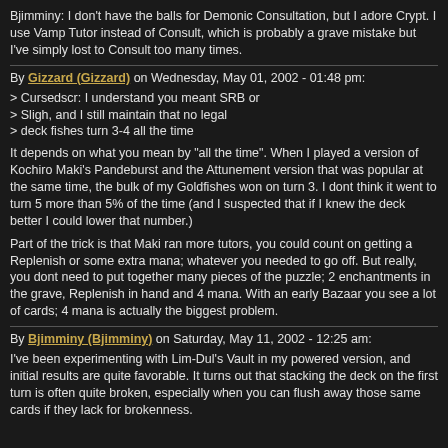Bjimminy: I don't have the balls for Demonic Consultation, but I adore Crypt. I use Vamp Tutor instead of Consult, which is probably a grave mistake but I've simply lost to Consult too many times.
By Gizzard (Gizzard) on Wednesday, May 01, 2002 - 01:48 pm:
> Cursedscr: I understand you meant SRB or
> Sligh, and I still maintain that no legal
> deck fishes turn 3-4 all the time
It depends on what you mean by "all the time". When I played a version of Kochiro Maki's Pandeburst and the Attunement version that was popular at the same time, the bulk of my Goldfishes won on turn 3. I dont think it went to turn 5 more than 5% of the time (and I suspected that if I knew the deck better I could lower that number.)
Part of the trick is that Maki ran more tutors, you could count on getting a Replenish or some extra mana; whatever you needed to go off. But really, you dont need to put together many pieces of the puzzle; 2 enchantments in the grave, Replenish in hand and 4 mana. With an early Bazaar you see a lot of cards; 4 mana is actually the biggest problem.
By Bjimminy (Bjimminy) on Saturday, May 11, 2002 - 12:25 am:
I've been experimenting with Lim-Dul's Vault in my powered version, and initial results are quite favorable. It turns out that stacking the deck on the first turn is often quite broken, especially when you can flush away those same cards if they lack for brokenness.